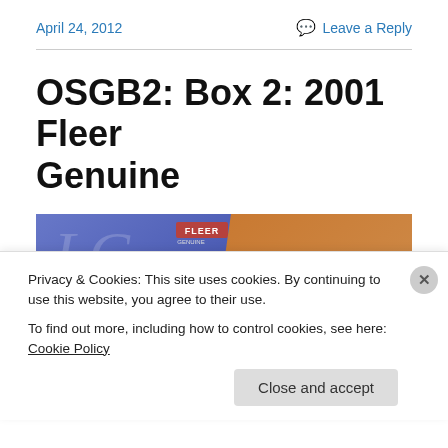April 24, 2012
Leave a Reply
OSGB2: Box 2: 2001 Fleer Genuine
[Figure (photo): Two 2001 Fleer Genuine baseball cards shown at an angle. Left card shows a catcher in red uniform on a blue/purple background with the Fleer logo. Right card shows a San Francisco Giants batter in an orange/brown background.]
Privacy & Cookies: This site uses cookies. By continuing to use this website, you agree to their use.
To find out more, including how to control cookies, see here: Cookie Policy
Close and accept